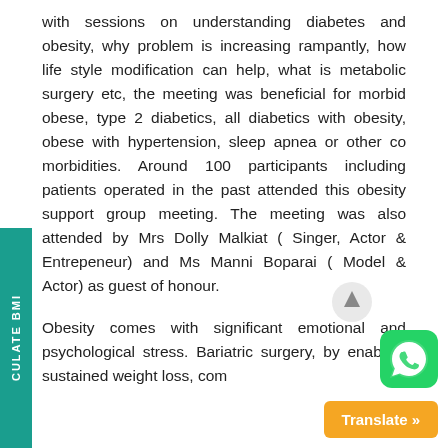with sessions on understanding diabetes and obesity, why problem is increasing rampantly, how life style modification can help, what is metabolic surgery etc, the meeting was beneficial for morbid obese, type 2 diabetics, all diabetics with obesity, obese with hypertension, sleep apnea or other co morbidities. Around 100 participants including patients operated in the past attended this obesity support group meeting. The meeting was also attended by Mrs Dolly Malkiat ( Singer, Actor & Entrepeneur) and Ms Manni Boparai ( Model & Actor) as guest of honour.
Obesity comes with significant emotional and psychological stress. Bariatric surgery, by enabling sustained weight loss, com...